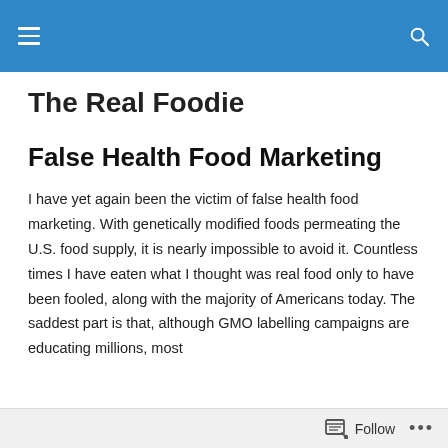The Real Foodie — navigation bar
The Real Foodie
False Health Food Marketing
I have yet again been the victim of false health food marketing. With genetically modified foods permeating the U.S. food supply, it is nearly impossible to avoid it. Countless times I have eaten what I thought was real food only to have been fooled, along with the majority of Americans today. The saddest part is that, although GMO labelling campaigns are educating millions, most
Follow ...